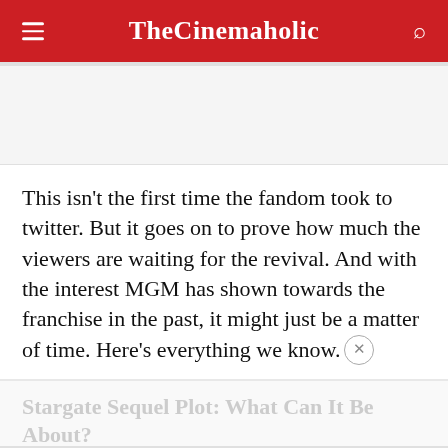TheCinemaholic
This isn't the first time the fandom took to twitter. But it goes on to prove how much the viewers are waiting for the revival. And with the interest MGM has shown towards the franchise in the past, it might just be a matter of time. Here's everything we know.
Stargate Sequel Plot: What Can It Be About?